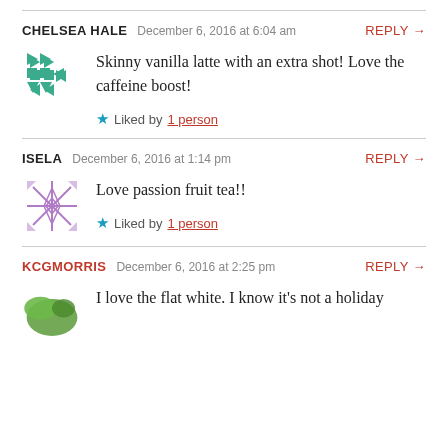CHELSEA HALE  December 6, 2016 at 6:04 am  REPLY →
Skinny vanilla latte with an extra shot! Love the caffeine boost!
Liked by 1 person
ISELA  December 6, 2016 at 1:14 pm  REPLY →
Love passion fruit tea!!
Liked by 1 person
KCGMORRIS  December 6, 2016 at 2:25 pm  REPLY →
I love the flat white. I know it's not a holiday